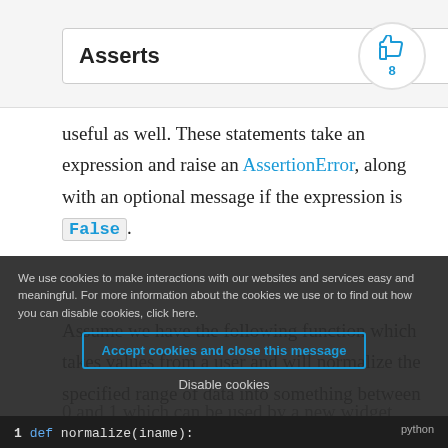Asserts
useful as well. These statements take an expression and raise an AssertionError, along with an optional message if the expression is False.
Assume we have the following function which takes values from a user and will normalize the specified range of data into something between 0 and 1 which can be used by a new widget later dow...
We use cookies to make interactions with our websites and services easy and meaningful. For more information about the cookies we use or to find out how you can disable cookies, click here.
Accept cookies and close this message
Disable cookies
1  def normalize(iname):